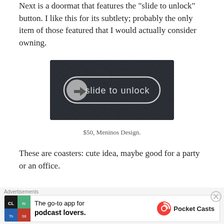Next is a doormat that features the "slide to unlock" button.  I like this for its subtlety; probably the only item of those featured that I would actually consider owning.
[Figure (photo): A dark textured doormat with the iOS-style 'slide to unlock' button printed on it — a rounded rectangle with an arrow icon on the left and the text 'slide to unlock' on the right.]
$50, Meninos Design.
These are coasters: cute idea, maybe good for a party or an office.
Advertisements
The go-to app for podcast lovers. Pocket Casts